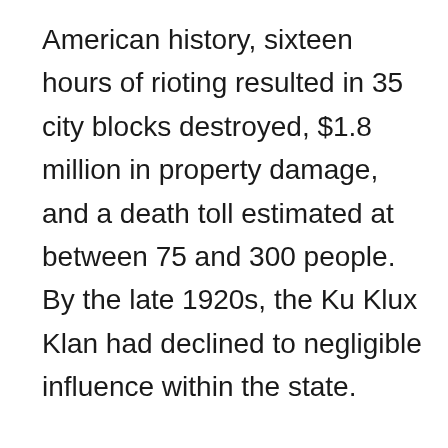American history, sixteen hours of rioting resulted in 35 city blocks destroyed, $1.8 million in property damage, and a death toll estimated at between 75 and 300 people. By the late 1920s, the Ku Klux Klan had declined to negligible influence within the state.
During the 1930s, parts of the state began suffering the consequences of poor farming practices. This period was known as the Dust Bowl, throughout which areas of Kansas, Texas, New Mexico and northwestern Oklahoma were hampered by long periods of little rainfall, strong winds, abnormally high